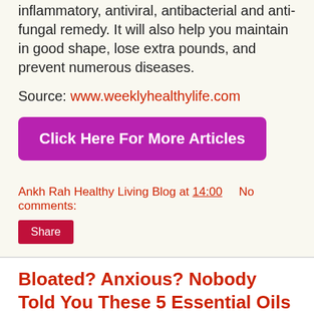inflammatory, antiviral, antibacterial and anti-fungal remedy. It will also help you maintain in good shape, lose extra pounds, and prevent numerous diseases.
Source: www.weeklyhealthylife.com
Click Here For More Articles
Ankh Rah Healthy Living Blog at 14:00    No comments:
Share
Bloated? Anxious? Nobody Told You These 5 Essential Oils Can Help Reset Your Hormones!
Hormones are extremely potent chemicals which have a great impact on the human body and its health. The female hormone, estrogen, is of high importance for the